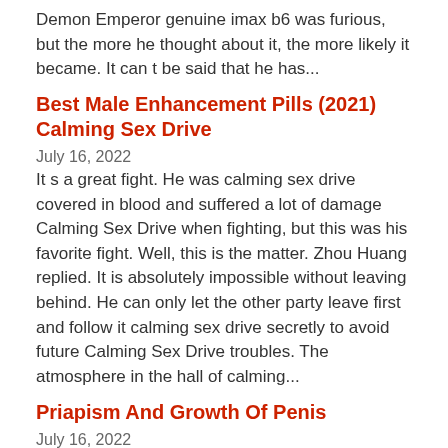Demon Emperor genuine imax b6 was furious, but the more he thought about it, the more likely it became. It can t be said that he has...
Best Male Enhancement Pills (2021) Calming Sex Drive
July 16, 2022
It s a great fight. He was calming sex drive covered in blood and suffered a lot of damage Calming Sex Drive when fighting, but this was his favorite fight. Well, this is the matter. Zhou Huang replied. It is absolutely impossible without leaving behind. He can only let the other party leave first and follow it calming sex drive secretly to avoid future Calming Sex Drive troubles. The atmosphere in the hall of calming...
Priapism And Growth Of Penis
July 16, 2022
Zhong Yuemin is now at the priapism and growth of penis